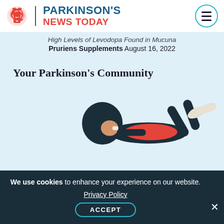[Figure (logo): Parkinson's News Today logo with red brain icon and teal/red text, plus hamburger menu icon in teal circle]
High Levels of Levodopa Found in Mucuna Pruriens Supplements August 16, 2022
Your Parkinson's Community
[Figure (illustration): Illustration of a person with afro hair lying down reading, wearing a red top, with legs raised]
We use cookies to enhance your experience on our website. Privacy Policy ACCEPT